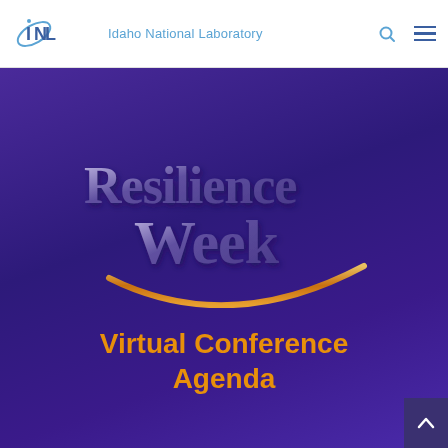[Figure (logo): Idaho National Laboratory (INL) logo with stylized INL letters in blue and text 'Idaho National Laboratory' in blue sans-serif font]
[Figure (illustration): Resilience Week logo: stylized gold/bronze 3D text 'Resilience Week' with a gold arc/smile underneath, on dark purple gradient background]
Virtual Conference Agenda